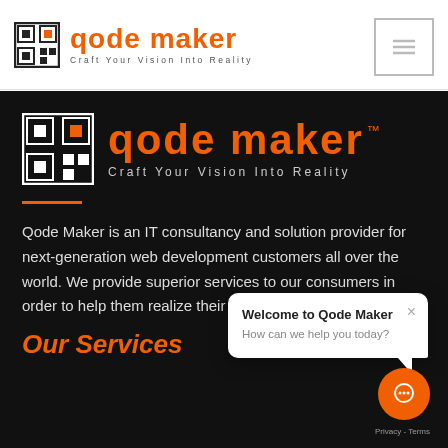[Figure (logo): Qode Maker logo in top navigation bar with QR-code style icon, orange brand name 'Qode Maker' and tagline 'Craft Your Vision Into Reality', with hamburger/menu icon on the right]
[Figure (logo): Large Qode Maker logo on dark background with QR-code style icon, large orange brand name 'Qode Maker' with TM mark and tagline 'Craft Your Vision Into Reality']
Qode Maker is an IT consultancy and solution provider for next-generation web development customers all over the world. We provide superior services to our consumers in order to help them realize their dreams.
[Figure (screenshot): Chat popup overlay showing 'Welcome to Qode Maker' title and 'How can we help you today?' subtitle, with X close button and orange chat circle button]
Our Services